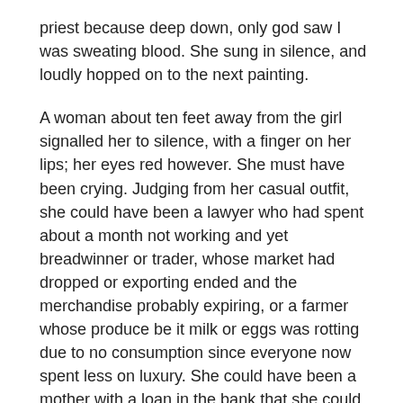priest because deep down, only god saw I was sweating blood. She sung in silence, and loudly hopped on to the next painting.
A woman about ten feet away from the girl signalled her to silence, with a finger on her lips; her eyes red however. She must have been crying. Judging from her casual outfit, she could have been a lawyer who had spent about a month not working and yet breadwinner or trader, whose market had dropped or exporting ended and the merchandise probably expiring, or a farmer whose produce be it milk or eggs was rotting due to no consumption since everyone now spent less on luxury. She could have been a mother with a loan in the bank that she could now not work to pay off due to the lockdown and curfew policies, all I know was that she was worried.
When news about the virus first hit our waves, I thought it a political game or perhaps a normal epidemic like it had been before with Ebola or Cholera. I had actually found it wise